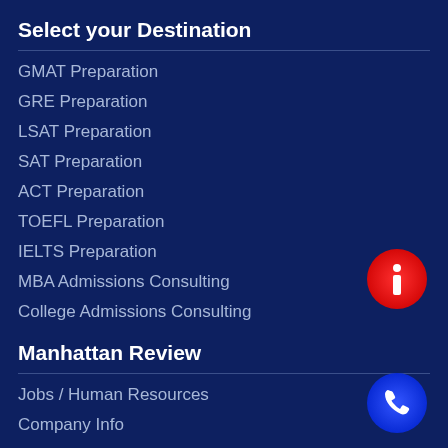Select your Destination
GMAT Preparation
GRE Preparation
LSAT Preparation
SAT Preparation
ACT Preparation
TOEFL Preparation
IELTS Preparation
MBA Admissions Consulting
College Admissions Consulting
[Figure (illustration): Red circular info button with white letter i]
Manhattan Review
Jobs / Human Resources
Company Info
Press Room
Locations
Manhattan Review India
Trademarks
[Figure (illustration): Blue circular phone button with white phone icon]